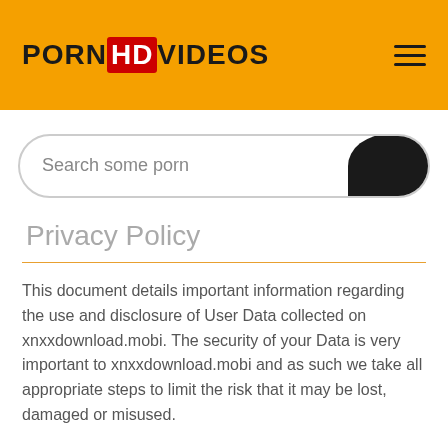PORNHDVIDEOS
Search some porn
Privacy Policy
This document details important information regarding the use and disclosure of User Data collected on xnxxdownload.mobi. The security of your Data is very important to xnxxdownload.mobi and as such we take all appropriate steps to limit the risk that it may be lost, damaged or misused.
This site expressly and strictly limits its membership and/or viewing privileges to adults